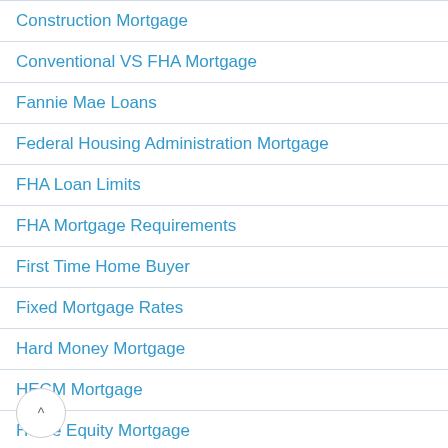Construction Mortgage
Conventional VS FHA Mortgage
Fannie Mae Loans
Federal Housing Administration Mortgage
FHA Loan Limits
FHA Mortgage Requirements
First Time Home Buyer
Fixed Mortgage Rates
Hard Money Mortgage
HECM Mortgage
Home Equity Mortgage
Home Loan Financing